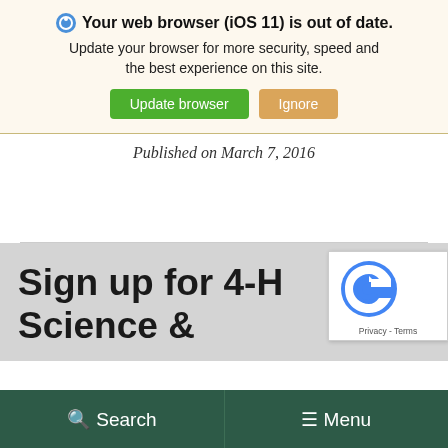Your web browser (iOS 11) is out of date. Update your browser for more security, speed and the best experience on this site.
Update browser | Ignore
Published on March 7, 2016
Sign up for 4-H Science &
[Figure (other): reCAPTCHA widget with logo and Privacy - Terms links]
Search | Menu